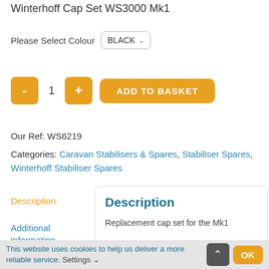Winterhoff Cap Set WS3000 Mk1
Please Select Colour  BLACK
- 1 +  ADD TO BASKET
Our Ref: WS6219
Categories: Caravan Stabilisers & Spares, Stabiliser Spares, Winterhoff Stabiliser Spares
Description
Additional information
Description
Replacement cap set for the Mk1
This website uses cookies to help us deliver a more reliable service. Settings OK